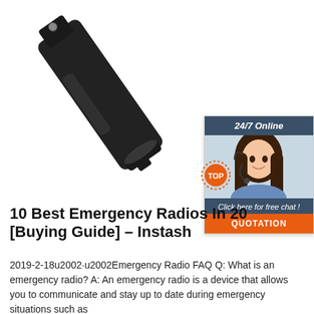[Figure (photo): Close-up photo of a black radio belt clip accessory on white background]
[Figure (screenshot): 24/7 online chat widget with customer service agent photo, 'Click here for free chat!' text, and orange QUOTATION button]
[Figure (logo): Orange TOP badge/logo with dotted border]
10 Best Emergency Radios In 20[cut] [Buying Guide] – Instash
2019-2-18u2002·u2002Emergency Radio FAQ Q: What is an emergency radio? A: An emergency radio is a device that allows you to communicate and stay up to date during emergency situations such as